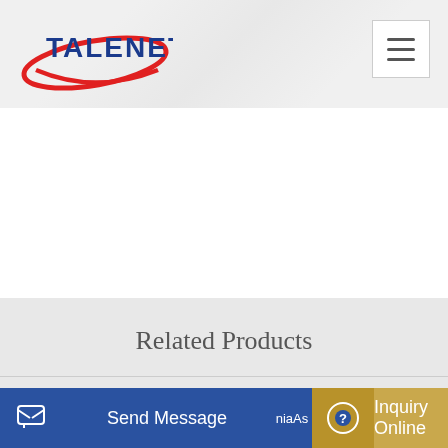TALENET
[Figure (logo): Talenet company logo with red swoosh and blue text]
Related Products
concrete batching plant machine for mix plant 2 hopper
continuous mortar production plant mixing equipment in
Send Message
niaAs
Inquiry Online